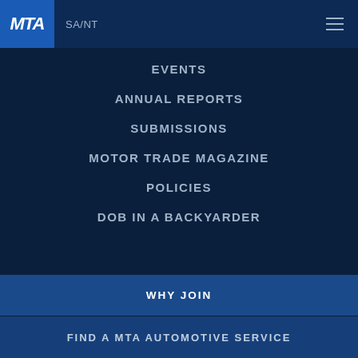MTA SA/NT
EVENTS
ANNUAL REPORTS
SUBMISSIONS
MOTOR TRADE MAGAZINE
POLICIES
DOB IN A BACKYARDER
WHY JOIN
FIND A MTA AUTOMOTIVE SERVICE